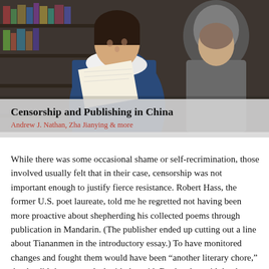[Figure (photo): Two people reading books, appearing to be in a bookstore or library setting. A young woman in a blue coat with white fur collar is in the foreground, and a man is partially visible in the background.]
Censorship and Publishing in China
Andrew J. Nathan, Zha Jianying & more
While there was some occasional shame or self-recrimination, those involved usually felt that in their case, censorship was not important enough to justify fierce resistance. Robert Hass, the former U.S. poet laureate, told me he regretted not having been more proactive about shepherding his collected poems through publication in Mandarin. (The publisher ended up cutting out a line about Tiananmen in the introductory essay.) To have monitored changes and fought them would have been “another literary chore,” that he didn’t want to deal with, he said. But he also said that he didn’t feel that his standing up to the censorship machine